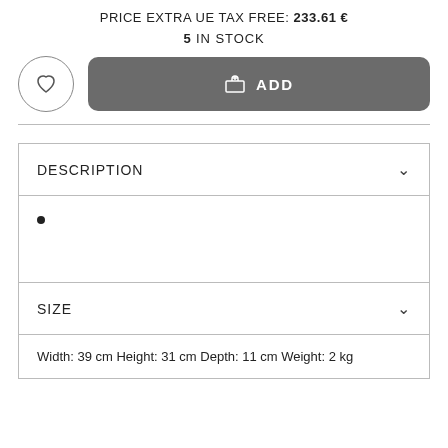PRICE EXTRA UE TAX FREE: 233.61 €
5 IN STOCK
[Figure (illustration): Wishlist heart button (circle outline with heart icon) and Add to cart button (dark grey rounded rectangle with cart icon and ADD label)]
DESCRIPTION
SIZE
Width: 39 cm Height: 31 cm Depth: 11 cm Weight: 2 kg